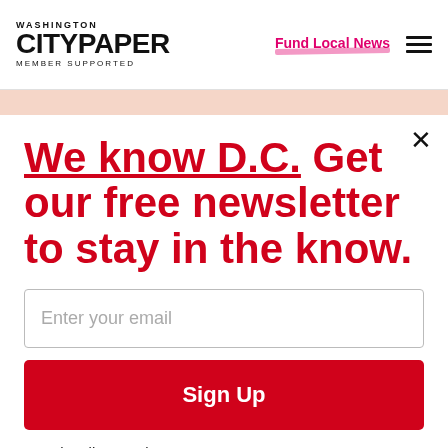Washington City Paper — Member Supported | Fund Local News
[Figure (other): Background image strip showing partial 'of DC' text in peach/pink tones]
We know D.C. Get our free newsletter to stay in the know.
Enter your email
Sign Up
Unsubscribe any time.